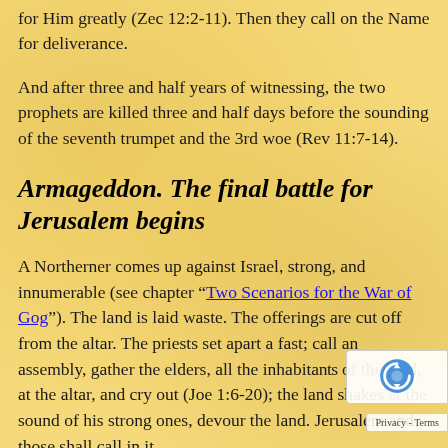for Him greatly (Zec 12:2-11). Then they call on the Name for deliverance.
And after three and half years of witnessing, the two prophets are killed three and half days before the sounding of the seventh trumpet and the 3rd woe (Rev 11:7-14).
Armageddon. The final battle for Jerusalem begins
A Northerner comes up against Israel, strong, and innumerable (see chapter “Two Scenarios for the War of Gog”). The land is laid waste. The offerings are cut off from the altar. The priests set apart a fast; call an assembly, gather the elders, all the inhabitants of the land, at the altar, and cry out (Joe 1:6-20); the land shakes at the sound of his strong ones, devour the land. Jerusalem and those shall call in it...